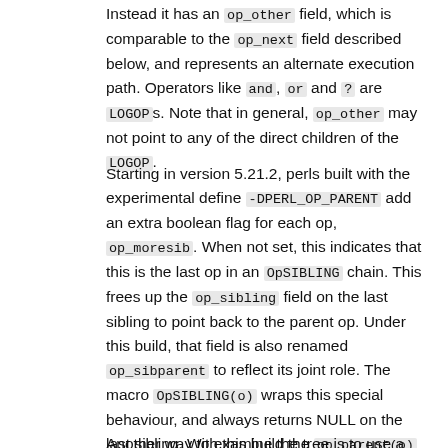Instead it has an op_other field, which is comparable to the op_next field described below, and represents an alternate execution path. Operators like and, or and ? are LOGOPs. Note that in general, op_other may not point to any of the direct children of the LOGOP.
Starting in version 5.21.2, perls built with the experimental define -DPERL_OP_PARENT add an extra boolean flag for each op, op_moresib. When not set, this indicates that this is the last op in an OpSIBLING chain. This frees up the op_sibling field on the last sibling to point back to the parent op. Under this build, that field is also renamed op_sibparent to reflect its joint role. The macro OpSIBLING(o) wraps this special behaviour, and always returns NULL on the last sibling. With this build the op_parent(o) function can be used to find the parent of any op. Thus for forward compatibility, you should always use the OpSIBLING(o) macro rather than accessing op_sibling directly.
Another way to examine the tree is to use a compiler